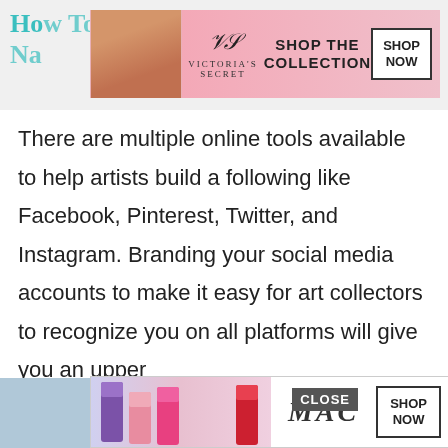How To Choose Art to Auction Name
[Figure (illustration): Victoria's Secret advertisement banner with woman's face, script logo, 'SHOP THE COLLECTION' text and 'SHOP NOW' button]
There are multiple online tools available to help artists build a following like Facebook, Pinterest, Twitter, and Instagram. Branding your social media accounts to make it easy for art collectors to recognize you on all platforms will give you an upper hand
[Figure (illustration): MAC Cosmetics advertisement banner with lipsticks, MAC logo, and 'SHOP NOW' button. Has a CLOSE button overlay.]